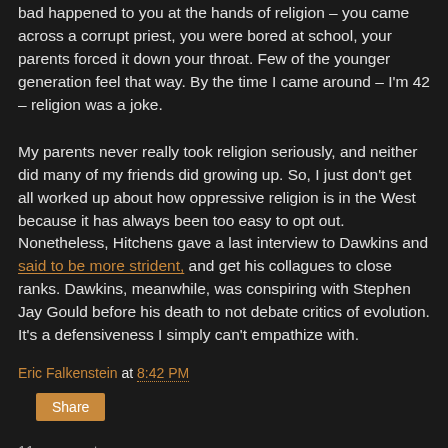bad happened to you at the hands of religion – you came across a corrupt priest, you were bored at school, your parents forced it down your throat. Few of the younger generation feel that way. By the time I came around – I'm 42 – religion was a joke.
My parents never really took religion seriously, and neither did many of my friends did growing up. So, I just don't get all worked up about how oppressive religion is in the West because it has always been too easy to opt out. Nonetheless, Hitchens gave a last interview to Dawkins and said to be more strident, and get his collagues to close ranks. Dawkins, meanwhile, was conspiring with Stephen Jay Gould before his death to not debate critics of evolution. It's a defensiveness I simply can't empathize with.
Eric Falkenstein at 8:42 PM
Share
11 comments: